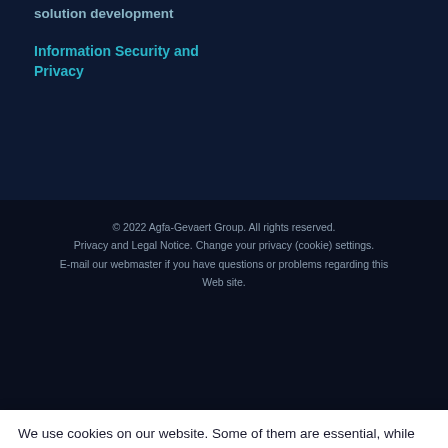solution development
Information Security and Privacy
© 2022 Agfa-Gevaert Group. All rights reserved.
Privacy and Legal Notice. Change your privacy (cookie) settings.
E-mail our webmaster if you have questions or problems regarding this Web site.
We use cookies on our website. Some of them are essential, while others help us to improve this website and your experience.
Cookie Settings
Accept All Cookies